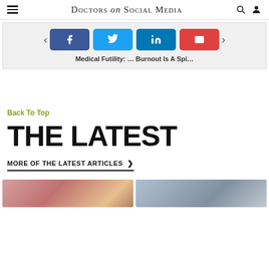Doctors on Social Media
[Figure (other): Share buttons row: Facebook (blue), Twitter (light blue), LinkedIn (dark blue), Email (red), with left and right navigation arrows, and article links: Medical Futility: ... Burnout Is A Spi...]
Back To Top
THE LATEST
MORE OF THE LATEST ARTICLES >
[Figure (photo): Two article thumbnail images at the bottom of the page]